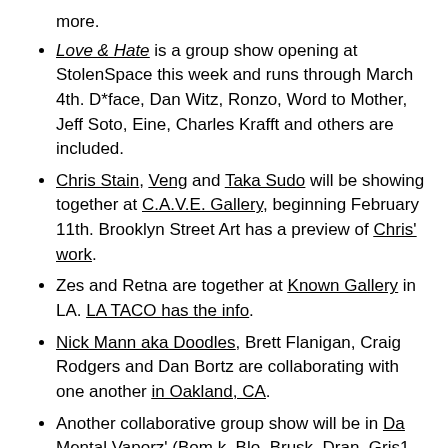more.
Love & Hate is a group show opening at StolenSpace this week and runs through March 4th. D*face, Dan Witz, Ronzo, Word to Mother, Jeff Soto, Eine, Charles Krafft and others are included.
Chris Stain, Veng and Taka Sudo will be showing together at C.A.V.E. Gallery, beginning February 11th. Brooklyn Street Art has a preview of Chris' work.
Zes and Retna are together at Known Gallery in LA. LA TACO has the info.
Nick Mann aka Doodles, Brett Flanigan, Craig Rodgers and Dan Bortz are collaborating with one another in Oakland, CA.
Another collaborative group show will be in Da Mental Vaporz' (Bom.k, Blo, Brusk, Dran, Gris1, ISO, Jaw, Kan, and Sowat) show at Melbourne. That show, Le Venin, will be at RTIST Gallery from February 16th through March 4th.
All Talk at Pandemic Gallery will include Aakash Nihalani,